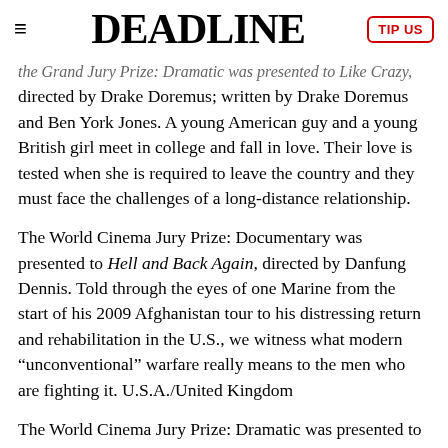DEADLINE
the Grand Jury Prize: Dramatic was presented to Like Crazy, directed by Drake Doremus; written by Drake Doremus and Ben York Jones. A young American guy and a young British girl meet in college and fall in love. Their love is tested when she is required to leave the country and they must face the challenges of a long-distance relationship.
The World Cinema Jury Prize: Documentary was presented to Hell and Back Again, directed by Danfung Dennis. Told through the eyes of one Marine from the start of his 2009 Afghanistan tour to his distressing return and rehabilitation in the U.S., we witness what modern "unconventional" warfare really means to the men who are fighting it. U.S.A./United Kingdom
The World Cinema Jury Prize: Dramatic was presented to Happy, Happy (Sykt Lykkelig), directed by Anne Sewitsky; written by Ragnhild Tronvoll. A perfect housewife, who just happens to be sex-starved, struggles to keep her emotions in check when an